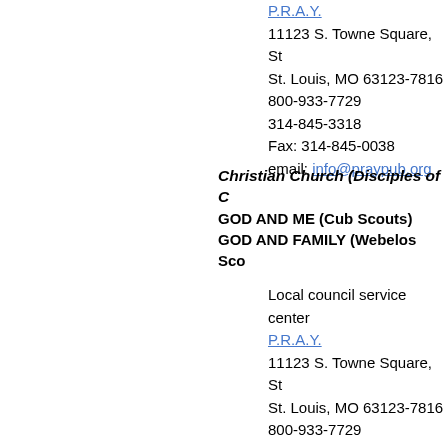P.R.A.Y.
11123 S. Towne Square, St. Louis, MO 63123-7816
800-933-7729
314-845-3318
Fax: 314-845-0038
email: info@praypub.org
Christian Church (Disciples of Christ)
GOD AND ME (Cub Scouts)
GOD AND FAMILY (Webelos Scouts)
Local council service center
P.R.A.Y.
11123 S. Towne Square, St. Louis, MO 63123-7816
800-933-7729
314-845-3318
Fax: 314-845-0038
email: info@praypub.org
Christian Methodist Episcopal Church
GOD AND ME (Cub Scouts)
GOD AND FAMILY (Webelos Scouts)
Local council service center